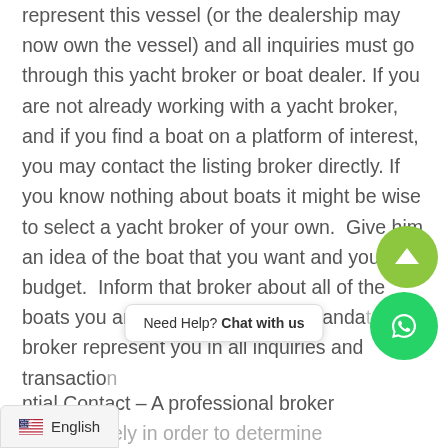represent this vessel (or the dealership may now own the vessel) and all inquiries must go through this yacht broker or boat dealer. If you are not already working with a yacht broker, and if you find a boat on a platform of interest, you may contact the listing broker directly. If you know nothing about boats it might be wise to select a yacht broker of your own.  Give him an idea of the boat that you want and your budget.  Inform that broker about all of the boats you are  interested in, and mandate that broker represent you in all inquiries and transactio
ntial Contact – A professional broker on attentively in order to determine